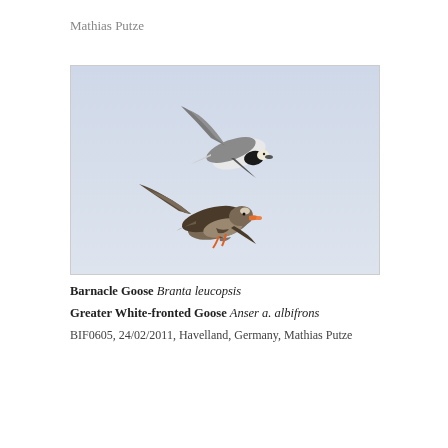Mathias Putze
[Figure (photo): Two geese in flight against a pale blue-grey sky. Upper bird is a Barnacle Goose with black neck and white face patch, grey-brown wings, white underparts. Lower bird is a Greater White-fronted Goose, larger, dark brownish-grey with orange bill, flying with wings spread wide.]
Barnacle Goose Branta leucopsis
Greater White-fronted Goose Anser a. albifrons
BIF0605, 24/02/2011, Havelland, Germany, Mathias Putze